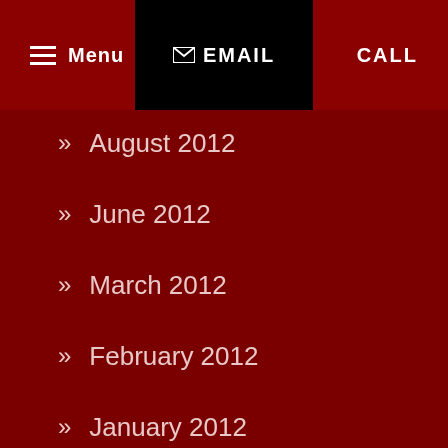Menu | EMAIL | CALL
August 2012
June 2012
March 2012
February 2012
January 2012
December 2011
November 2011